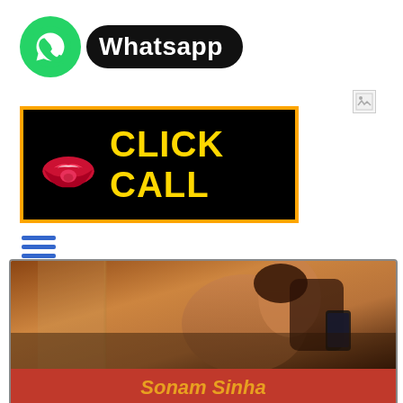[Figure (logo): WhatsApp logo with green circle and white phone icon, next to black pill-shaped label saying 'Whatsapp']
[Figure (illustration): Broken image placeholder icon (small, top right)]
[Figure (infographic): Black banner with orange border showing red lips icon and yellow text 'CLICK CALL']
[Figure (illustration): Blue hamburger menu icon (three horizontal lines)]
[Figure (photo): Dark photo of a woman taking a selfie in a mirror, warm toned room background]
Sonam Sinha
Verified Escorts